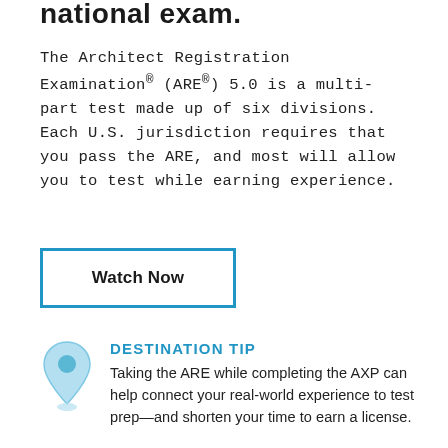national exam.
The Architect Registration Examination® (ARE®) 5.0 is a multi-part test made up of six divisions. Each U.S. jurisdiction requires that you pass the ARE, and most will allow you to test while earning experience.
[Figure (other): Button with blue border labeled 'Watch Now']
[Figure (illustration): Light blue map pin / location marker icon]
DESTINATION TIP
Taking the ARE while completing the AXP can help connect your real-world experience to test prep—and shorten your time to earn a license.